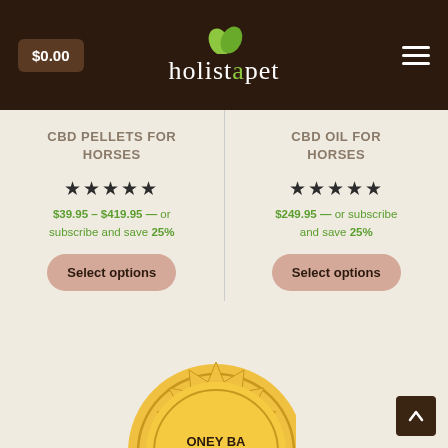$0.00 | holistapet | (menu)
CBD PELLETS FOR HORSES
★★★★★
$39.95 – $419.95 — or subscribe and save 25%
Select options
CBD OIL FOR HORSES
★★★★★
$249.95 — or subscribe and save 25%
Select options
[Figure (illustration): Partially visible gold money-back guarantee badge at the bottom of the page]